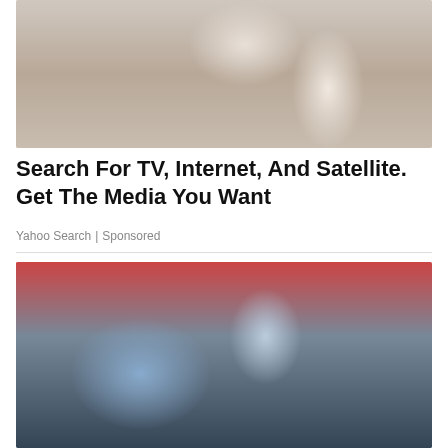[Figure (photo): Woman in black and white striped blazer sitting at a desk, smiling, with office background]
Search For TV, Internet, And Satellite. Get The Media You Want
Yahoo Search | Sponsored
[Figure (photo): Gloved hand holding a medical vial labeled 'Protocol D3W' with a masked patient in the background]